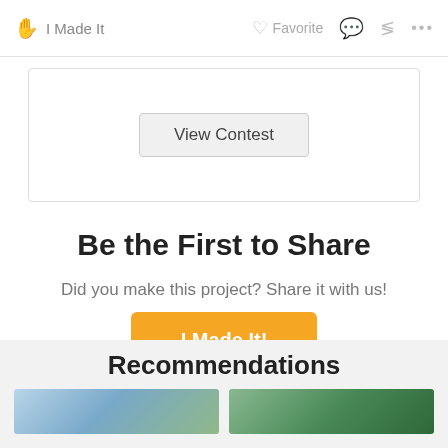I Made It   Favorite   ...
View Contest
Be the First to Share
Did you make this project? Share it with us!
I Made It!
Recommendations
[Figure (photo): Two thumbnail images of recommended projects]